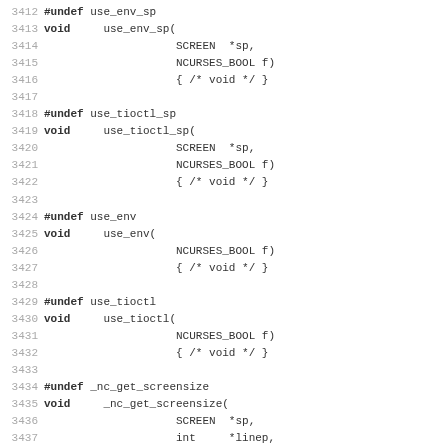Code listing lines 3412-3443 showing C preprocessor undef macros and function stubs for use_env_sp, use_tioctl_sp, use_env, use_tioctl, _nc_get_screensize, _nc_update_screensize